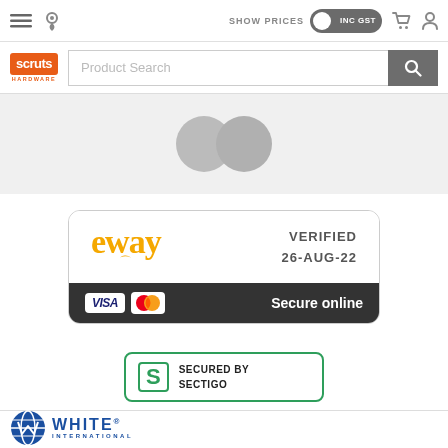SHOW PRICES INC GST
[Figure (screenshot): Scruts Hardware website navigation bar with hamburger menu, location pin, 'SHOW PRICES INC GST' toggle, cart and user icons]
[Figure (screenshot): Product search bar with Scruts Hardware logo and search input]
[Figure (screenshot): Partial product image area (grey background with partially visible circular product images)]
[Figure (other): eWAY payment badge showing VERIFIED 26-AUG-22, VISA and Mastercard logos, Secure online text]
[Figure (other): Secured by Sectigo badge with green S logo]
[Figure (logo): White International logo with blue W globe icon and WHITE INTERNATIONAL text]